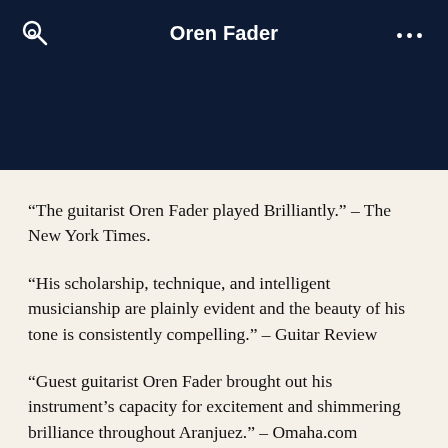Oren Fader
“The guitarist Oren Fader played Brilliantly.” – The New York Times.
“His scholarship, technique, and intelligent musicianship are plainly evident and the beauty of his tone is consistently compelling.” – Guitar Review
“Guest guitarist Oren Fader brought out his instrument’s capacity for excitement and shimmering brilliance throughout Aranjuez.” – Omaha.com